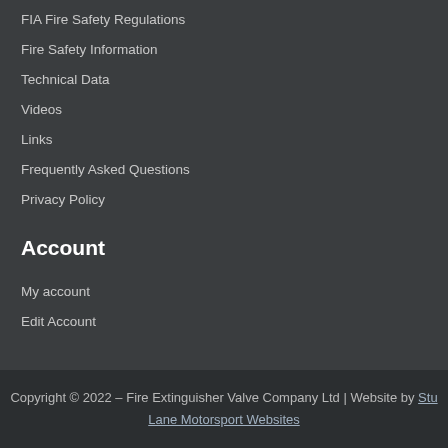FIA Fire Safety Regulations
Fire Safety Information
Technical Data
Videos
Links
Frequently Asked Questions
Privacy Policy
Account
My account
Edit Account
Copyright © 2022 – Fire Extinguisher Valve Company Ltd | Website by Stu Lane Motorsport Websites